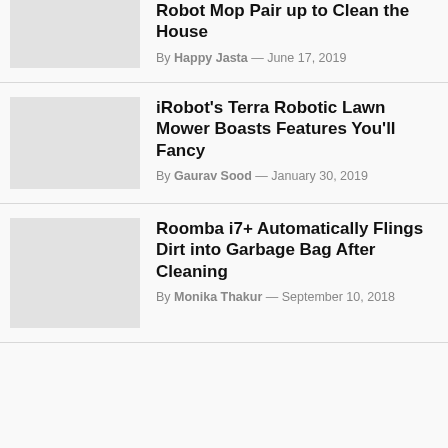Robot Mop Pair up to Clean the House
By Happy Jasta — June 17, 2019
iRobot's Terra Robotic Lawn Mower Boasts Features You'll Fancy
By Gaurav Sood — January 30, 2019
Roomba i7+ Automatically Flings Dirt into Garbage Bag After Cleaning
By Monika Thakur — September 10, 2018